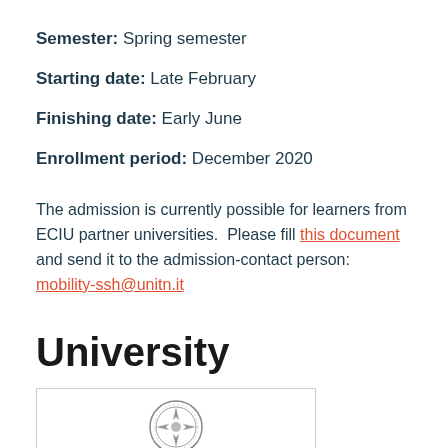Semester: Spring semester
Starting date: Late February
Finishing date: Early June
Enrollment period: December 2020
The admission is currently possible for learners from ECIU partner universities. Please fill this document and send it to the admission-contact person: mobility-ssh@unitn.it
University
[Figure (logo): University seal/logo partially visible at the bottom of a bordered image box]